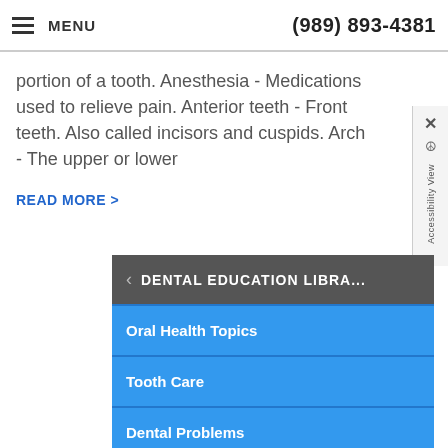MENU   (989) 893-4381
portion of a tooth. Anesthesia - Medications used to relieve pain. Anterior teeth - Front teeth. Also called incisors and cuspids. Arch - The upper or lower
READ MORE >
DENTAL EDUCATION LIBRA...
Oral Health Topics
Tooth Care
Dental Problems
Treatment